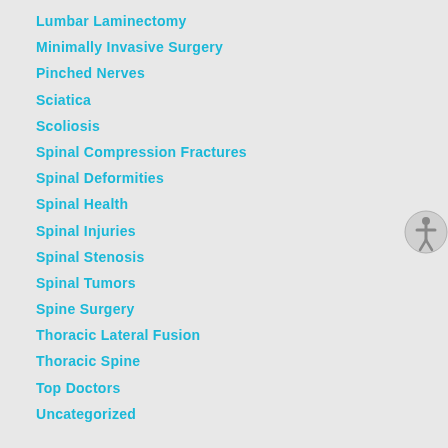Lumbar Laminectomy
Minimally Invasive Surgery
Pinched Nerves
Sciatica
Scoliosis
Spinal Compression Fractures
Spinal Deformities
Spinal Health
Spinal Injuries
Spinal Stenosis
Spinal Tumors
Spine Surgery
Thoracic Lateral Fusion
Thoracic Spine
Top Doctors
Uncategorized
[Figure (illustration): Accessibility icon - circular icon with human figure symbol]